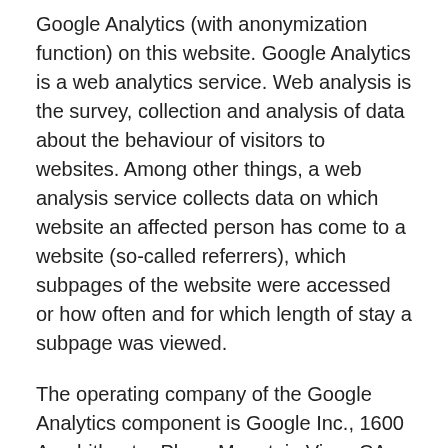Google Analytics (with anonymization function) on this website. Google Analytics is a web analytics service. Web analysis is the survey, collection and analysis of data about the behaviour of visitors to websites. Among other things, a web analysis service collects data on which website an affected person has come to a website (so-called referrers), which subpages of the website were accessed or how often and for which length of stay a subpage was viewed.
The operating company of the Google Analytics component is Google Inc., 1600 Amphitheater Pkwy, Mountain View, CA 94043-1351, USA.
The responsible person uses the addition "_gat._anonymizeIp" for the web analytics via Google Analytics. By means of this addendum, the IP address of the Internet access of the data subject will be shortened and anonymised by Google if the access to our website is from a